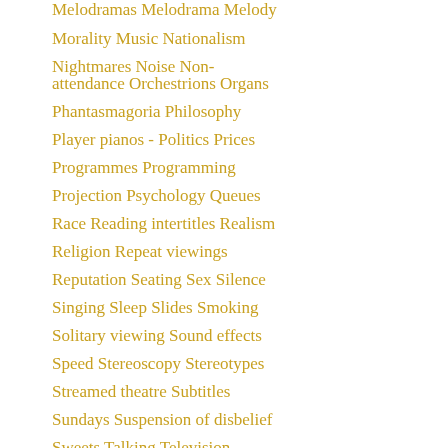Melodramas Melodrama Melody
Morality Music Nationalism
Nightmares Noise Non-attendance Orchestrions Organs
Phantasmagoria Philosophy
Player pianos - Politics Prices
Programmes Programming
Projection Psychology Queues
Race Reading intertitles Realism
Religion Repeat viewings
Reputation Seating Sex Silence
Singing Sleep Slides Smoking
Solitary viewing Sound effects
Speed Stereoscopy Stereotypes
Streamed theatre Subtitles
Sundays Suspension of disbelief
Sweets Talking Television
Temperance Tickets Time Title